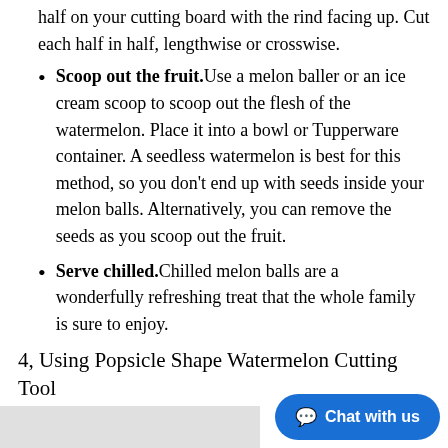half on your cutting board with the rind facing up. Cut each half in half, lengthwise or crosswise.
Scoop out the fruit. Use a melon baller or an ice cream scoop to scoop out the flesh of the watermelon. Place it into a bowl or Tupperware container. A seedless watermelon is best for this method, so you don't end up with seeds inside your melon balls. Alternatively, you can remove the seeds as you scoop out the fruit.
Serve chilled. Chilled melon balls are a wonderfully refreshing treat that the whole family is sure to enjoy.
4, Using Popsicle Shape Watermelon Cutting Tool